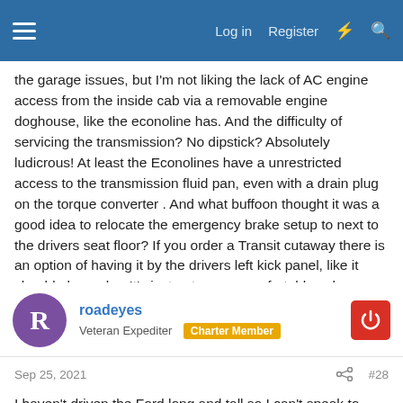Log in  Register
the garage issues, but I'm not liking the lack of AC engine access from the inside cab via a removable engine doghouse, like the econoline has. And the difficulty of servicing the transmission? No dipstick? Absolutely ludicrous! At least the Econolines have a unrestricted access to the transmission fluid pan, even with a drain plug on the torque converter . And what buffoon thought it was a good idea to relocate the emergency brake setup to next to the drivers seat floor? If you order a Transit cutaway there is an option of having it by the drivers left kick panel, like it should always be. It's just not a very comfortable cab area, imo, nothing like the Sprinter. But I do like the idea of the rear wheel drive, and many other things as well. And the Transit is a nice looking van. Much more than the promaster.
roadeyes
Veteran Expediter  Charter Member
Sep 25, 2021  #28
I haven't driven the Ford long and tall so I can't speak to cabin